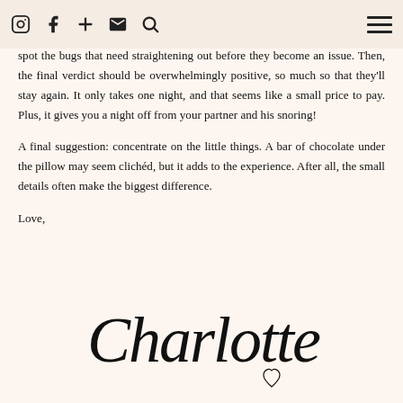[Navigation bar with social icons and hamburger menu]
will have to put up with it during their stay. Thankfully, there is an easy fix: invite people over to visit. By spending the night yourself, you'll be able to spot the bugs that need straightening out before they become an issue. Then, the final verdict should be overwhelmingly positive, so much so that they'll stay again. It only takes one night, and that seems like a small price to pay. Plus, it gives you a night off from your partner and his snoring!
A final suggestion: concentrate on the little things. A bar of chocolate under the pillow may seem clichéd, but it adds to the experience. After all, the small details often make the biggest difference.
Love,
[Figure (illustration): Cursive signature reading 'Charlotte' with a small hand-drawn heart below]